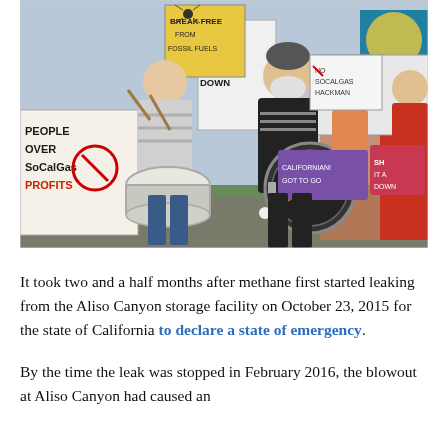[Figure (photo): Protest march with demonstrators holding signs reading 'BREAK FREE FROM FOSSIL FUELS', '#SHUT IT ALL DOWN', 'FOSSIL FREE', 'PEOPLE OVER SOCALGAS PROFITS'. Two people in foreground play drums. One person wears a face mask and a black shirt with an American flag design.]
It took two and a half months after methane first started leaking from the Aliso Canyon storage facility on October 23, 2015 for the state of California to declare a state of emergency.
By the time the leak was stopped in February 2016, the blowout at Aliso Canyon had caused an